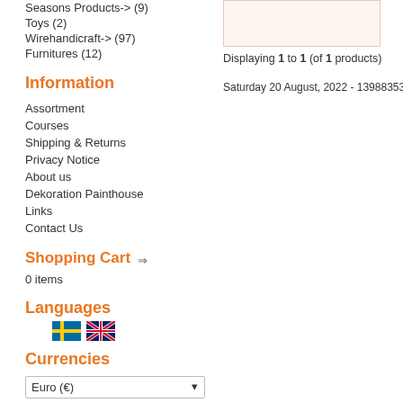Seasons Products-> (9)
Toys (2)
Wirehandicraft-> (97)
Furnitures (12)
Information
Assortment
Courses
Shipping & Returns
Privacy Notice
About us
Dekoration Painthouse
Links
Contact Us
Shopping Cart
0 items
Languages
Currencies
Euro (€)
Displaying 1 to 1 (of 1 products)
Saturday 20 August, 2022 - 13988353 requests